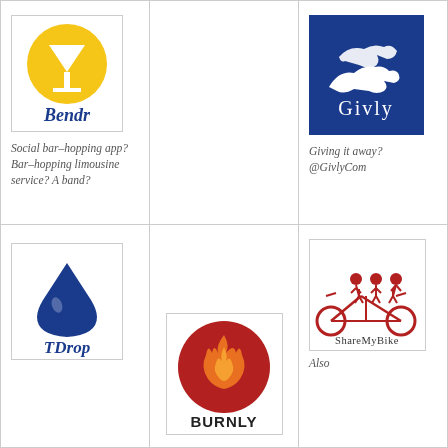[Figure (logo): Bendr logo: yellow circle with martini glass, blue italic text 'Bendr' below]
Social bar-hopping app? Bar-hopping limousine service? A band?
[Figure (logo): Givly logo: blue square background with white hand holding/offering gesture, text 'Givly' in white]
Giving it away? @GivlyCom
[Figure (logo): TDrop logo: blue water drop shape, text 'TDrop' in blue below]
[Figure (logo): Burnly logo: red circle with orange flame, bold text 'BURNLY' below]
[Figure (logo): ShareMyBike logo: three people on tandem bicycle in red, text 'ShareMyBike' below]
Also